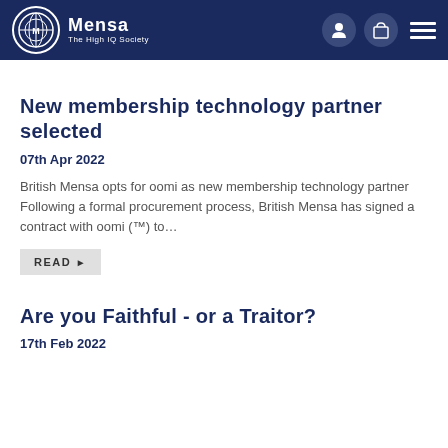Mensa The High IQ Society
New membership technology partner selected
07th Apr 2022
British Mensa opts for oomi as new membership technology partner Following a formal procurement process, British Mensa has signed a contract with oomi (™) to…
READ
Are you Faithful - or a Traitor?
17th Feb 2022